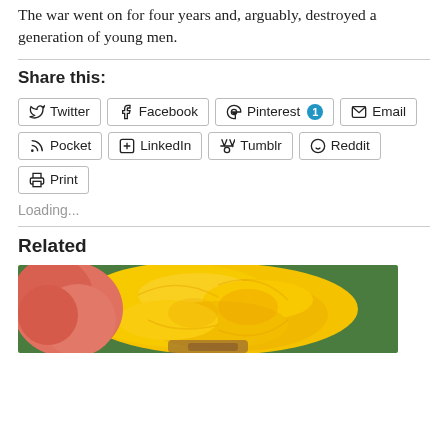The war went on for four years and, arguably, destroyed a generation of young men.
Share this:
[Figure (screenshot): Social sharing buttons: Twitter, Facebook, Pinterest (with badge 1), Email, Pocket, LinkedIn, Tumblr, Reddit, Print]
Loading...
Related
[Figure (photo): Close-up photo of a yellow flower (daffodil or similar) with a pink flower beside it, held in hands, green foliage in background]